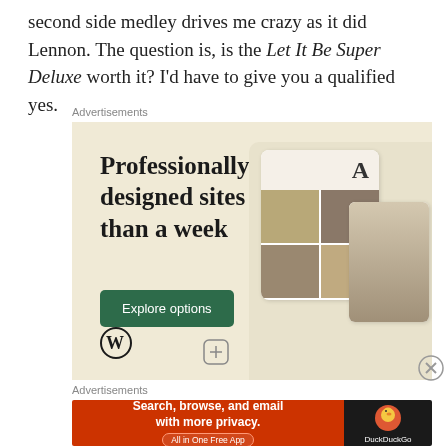second side medley drives me crazy as it did Lennon. The question is, is the Let It Be Super Deluxe worth it? I'd have to give you a qualified yes.
Advertisements
[Figure (illustration): WordPress advertisement: 'Professionally designed sites in less than a week' with Explore options button, WordPress logo, and phone mockups showing food website]
Advertisements
[Figure (illustration): DuckDuckGo advertisement: 'Search, browse, and email with more privacy. All in One Free App' with DuckDuckGo logo on dark background]